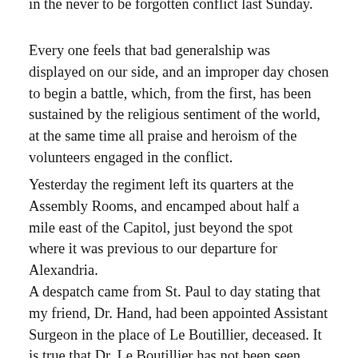in the never to be forgotten conflict last Sunday.
Every one feels that bad generalship was displayed on our side, and an improper day chosen to begin a battle, which, from the first, has been sustained by the religious sentiment of the world, at the same time all praise and heroism of the volunteers engaged in the conflict.
Yesterday the regiment left its quarters at the Assembly Rooms, and encamped about half a mile east of the Capitol, just beyond the spot where it was previous to our departure for Alexandria.
A despatch came from St. Paul to day stating that my friend, Dr. Hand, had been appointed Assistant Surgeon in the place of Le Boutillier, deceased. It is true that Dr. Le Boutillier has not been seen since the battle, but we have no authentic information that of his decease, and we still